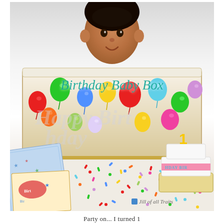[Figure (photo): A baby sitting inside a large birthday cake-shaped box decorated with colorful balloons and 'Happy Birthday' text. The box is styled as a tiered cake. In the foreground are birthday cards/books on the left and a small diaper cake topped with a '1' candle on the right. Colorful sprinkles are scattered on the white table surface. Text overlay reads 'Birthday Baby Box' in teal italic. A watermark reads 'Jill of all Traits'.]
Party on... I turned 1